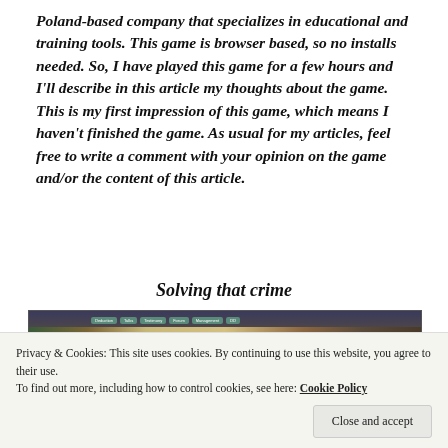Poland-based company that specializes in educational and training tools. This game is browser based, so no installs needed. So, I have played this game for a few hours and I'll describe in this article my thoughts about the game. This is my first impression of this game, which means I haven't finished the game. As usual for my articles, feel free to write a comment with your opinion on the game and/or the content of this article.
Solving that crime
[Figure (screenshot): Screenshot of a browser-based detective game showing a detective character on the left, navigation tabs at the top (Deduction, Talks, Testimony, Forum, Management, DD), a clock icon, and various game elements including maps and documents in the center.]
Privacy & Cookies: This site uses cookies. By continuing to use this website, you agree to their use.
To find out more, including how to control cookies, see here: Cookie Policy